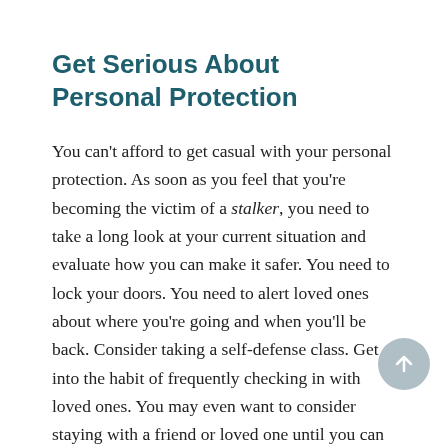Get Serious About Personal Protection
You can't afford to get casual with your personal protection. As soon as you feel that you're becoming the victim of a stalker, you need to take a long look at your current situation and evaluate how you can make it safer. You need to lock your doors. You need to alert loved ones about where you're going and when you'll be back. Consider taking a self-defense class. Get into the habit of frequently checking in with loved ones. You may even want to consider staying with a friend or loved one until you can figure out